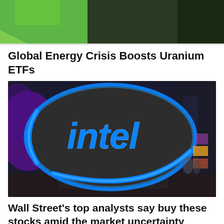[Figure (photo): Top portion of a financial news article image showing green and dark background colors — partially cropped uranium/energy related image.]
Global Energy Crisis Boosts Uranium ETFs
[Figure (photo): Intel logo sign — large illuminated blue Intel logo on a dark oval background at a trade show or exhibition.]
Wall Street’s top analysts say buy these stocks amid the market uncertainty